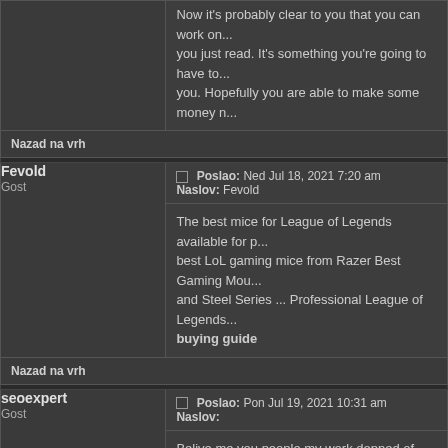Now it's probably clear to you that you can work on... you just read. It's something you're going to have to ... you. Hopefully you are able to make some money n...
Nazad na vrh
Fevold
Gost
Poslao: Ned Jul 18, 2021 7:20 am    Naslov: Fevold
The best mice for League of Legends available for p... best LoL gaming mice from Razer Best Gaming Mo... and Steel Series ... Professional League of Legends... buying guide
Nazad na vrh
seoexpert
Gost
Poslao: Pon Jul 19, 2021 10:31 am    Naslov:
Belive me you people my work depned of this site ht... signature-without-a-pdf-editor. Due to the fact that th... people.
Nazad na vrh
Gost
Poslao: Sub Jul 24, 2021 3:06 pm    Naslov:
This website and I conceive this internet site is really...